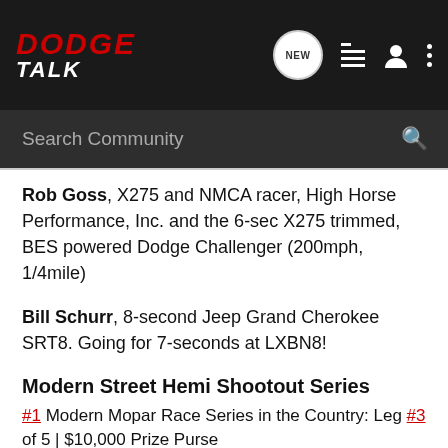DODGE TALK
Rob Goss, X275 and NMCA racer, High Horse Performance, Inc. and the 6-sec X275 trimmed, BES powered Dodge Challenger (200mph, 1/4mile)
Bill Schurr, 8-second Jeep Grand Cherokee SRT8. Going for 7-seconds at LXBN8!
Modern Street Hemi Shootout Series
#1 Modern Mopar Race Series in the Country: Leg #3 of 5 | $10,000 Prize Purse
Unlimited Class, Super Pro Class, Pro Class, Modified Class, Super Stock Class, Street Class
Pentastar Bracket | Hellcat Shootout and Challenge